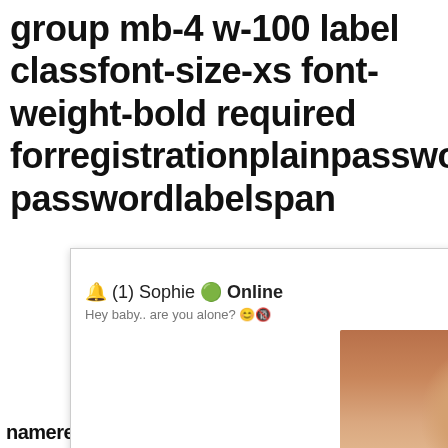group mb-4 w-100 label classfont-size-xs font-weight-bold required forregistrationplainpasswords passwordlabelspan
[Figure (screenshot): Advertisement popup from ClickAdilla showing a chat notification from 'Sophie' who is Online, with message 'Hey baby.. are you alone?' and a photo of a woman, with timestamp '2md']
nameregistrationplainpasswo